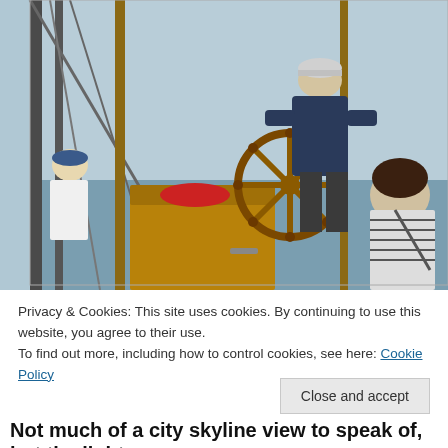[Figure (photo): A sailing ship deck scene with a person steering the ship's wooden wheel, masts and rigging visible, other people on deck, misty water in the background]
Privacy & Cookies: This site uses cookies. By continuing to use this website, you agree to their use.
To find out more, including how to control cookies, see here: Cookie Policy
Close and accept
Not much of a city skyline view to speak of, but the light